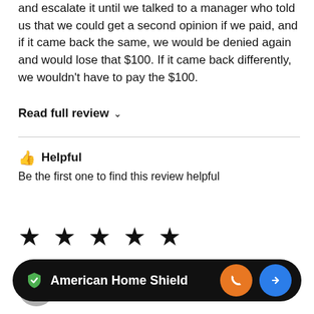and escalate it until we talked to a manager who told us that we could get a second opinion if we paid, and if it came back the same, we would be denied again and would lose that $100. If it came back differently, we wouldn't have to pay the $100.
Read full review ∨
👍 Helpful
Be the first one to find this review helpful
[Figure (other): Five black star rating icons]
Mary of Redwood City, CA
American Home Shield